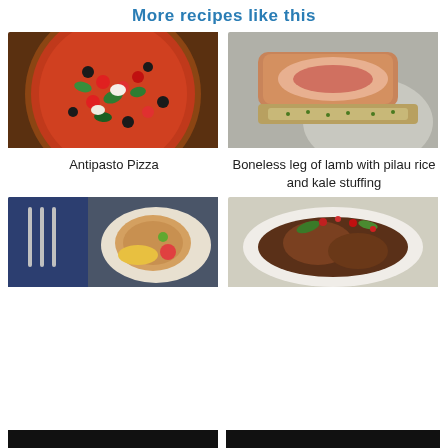More recipes like this
[Figure (photo): Antipasto pizza with tomatoes, olives, basil on wooden surface]
Antipasto Pizza
[Figure (photo): Sliced boneless leg of lamb with pilau rice and kale stuffing on a plate]
Boneless leg of lamb with pilau rice and kale stuffing
[Figure (photo): Chicken dish on a plate with fork and knife on dark napkin]
[Figure (photo): Grilled beef dish with herbs and red berries on white plate]